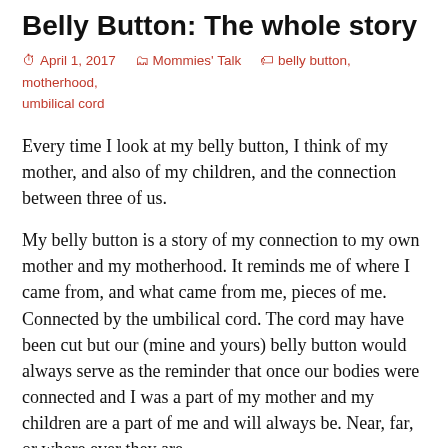Belly Button: The whole story
April 1, 2017   Mommies' Talk   belly button, motherhood, umbilical cord
Every time I look at my belly button, I think of my mother, and also of my children, and the connection between three of us.
My belly button is a story of my connection to my own mother and my motherhood. It reminds me of where I came from, and what came from me, pieces of me. Connected by the umbilical cord. The cord may have been cut but our (mine and yours) belly button would always serve as the reminder that once our bodies were connected and I was a part of my mother and my children are a part of me and will always be. Near, far, or where ever they are.
When I think of my mother, I thank her for nourishing me, and when I think of my children, I yearn to nurture them